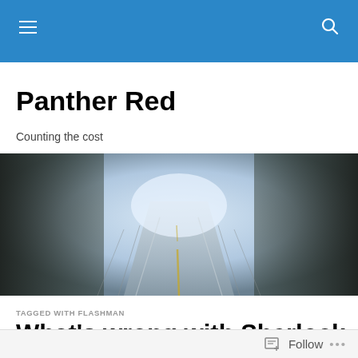Navigation bar with hamburger menu and search icon
Panther Red
Counting the cost
[Figure (photo): A foggy two-lane road stretching into the distance, flanked by dark trees on both sides, with faint yellow center lines visible.]
TAGGED WITH FLASHMAN
What's wrong with Sherlock Holmes
Follow ...